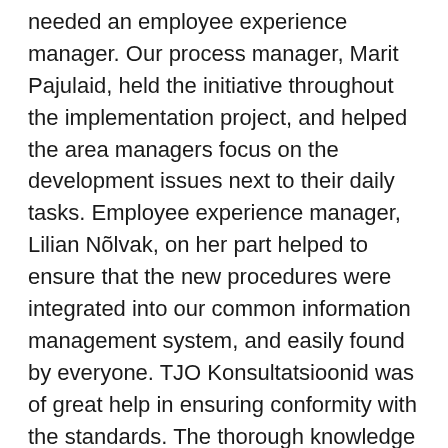needed an employee experience manager. Our process manager, Marit Pajulaid, held the initiative throughout the implementation project, and helped the area managers focus on the development issues next to their daily tasks. Employee experience manager, Lilian Nõlvak, on her part helped to ensure that the new procedures were integrated into our common information management system, and easily found by everyone. TJO Konsultatsioonid was of great help in ensuring conformity with the standards. The thorough knowledge of Jussi Onoper of the standard and his openness to our way of doing things made it possible to create a manual that is integrated into the processes of Primend. The competent consultant was of great help in implementation of the management system, saving us time, giving valuable advice, and having useful perspectives. Development, implementation and further improvement of the management system was teamwork where every employee had an important role to play. To ensure a